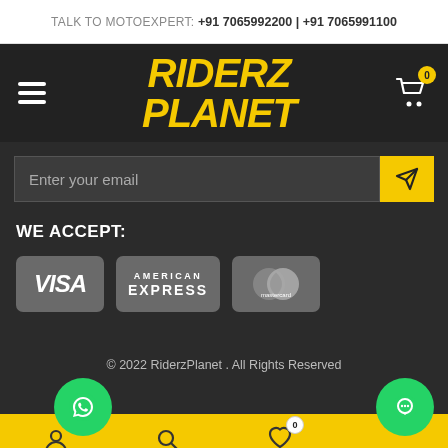TALK TO MOTOEXPERT: +91 7065992200 | +91 7065991100
[Figure (logo): Riderz Planet yellow italic bold logo on dark background with hamburger menu and cart icon showing 0 items]
Enter your email
WE ACCEPT:
[Figure (infographic): Payment icons: Visa, American Express, Mastercard on dark grey background]
© 2022 RiderzPlanet . All Rights Reserved
[Figure (infographic): Bottom navigation bar in yellow with WhatsApp button, search icon, heart/wishlist with 0 badge, and green chat button]